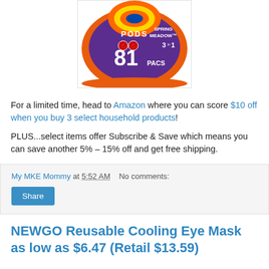[Figure (photo): Tide PODS Spring Meadow 3-in-1 laundry detergent container, 81 pacs, purple and orange design]
For a limited time, head to Amazon where you can score $10 off when you buy 3 select household products!
PLUS...select items offer Subscribe & Save which means you can save another 5% – 15% off and get free shipping.
My MKE Mommy at 5:52 AM   No comments:
Share
NEWGO Reusable Cooling Eye Mask as low as $6.47 (Retail $13.59)